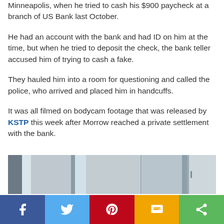Minneapolis, when he tried to cash his $900 paycheck at a branch of US Bank last October.
He had an account with the bank and had ID on him at the time, but when he tried to deposit the check, the bank teller accused him of trying to cash a fake.
They hauled him into a room for questioning and called the police, who arrived and placed him in handcuffs.
It was all filmed on bodycam footage that was released by KSTP this week after Morrow reached a private settlement with the bank.
[Figure (photo): Interior room photo, likely bodycam footage showing a room with walls and a door frame]
[Figure (infographic): Social sharing bar with Facebook, Twitter, Pinterest, SMS, and Share buttons]